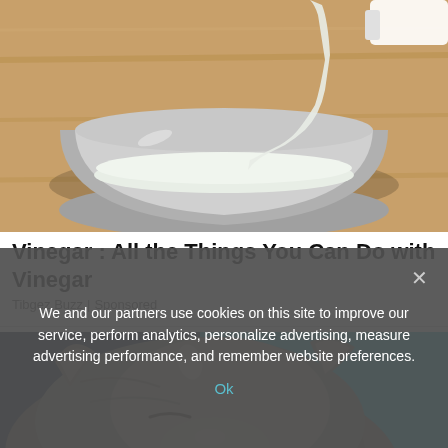[Figure (illustration): Illustration of white liquid being poured into a gray bowl on a wooden surface]
Vinegar : All the Things You Can Do with Vinegar
Tibgez Buzz | Sponsored
[Figure (photo): Close-up photo of a cat sleeping, showing its ear and fur, with teal background]
We and our partners use cookies on this site to improve our service, perform analytics, personalize advertising, measure advertising performance, and remember website preferences.